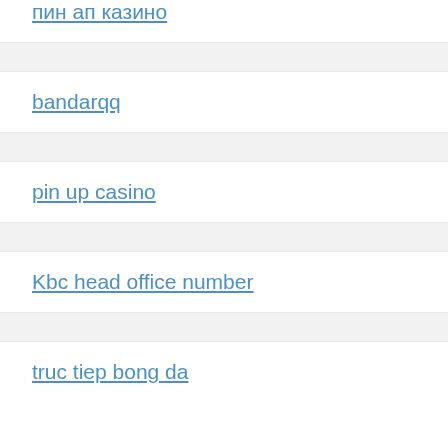пин ап казино
bandarqq
pin up casino
Kbc head office number
truc tiep bong da